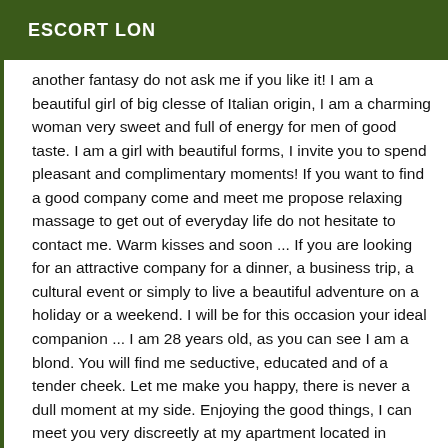ESCORT LON
another fantasy do not ask me if you like it! I am a beautiful girl of big clesse of Italian origin, I am a charming woman very sweet and full of energy for men of good taste. I am a girl with beautiful forms, I invite you to spend pleasant and complimentary moments! If you want to find a good company come and meet me propose relaxing massage to get out of everyday life do not hesitate to contact me. Warm kisses and soon ... If you are looking for an attractive company for a dinner, a business trip, a cultural event or simply to live a beautiful adventure on a holiday or a weekend. I will be for this occasion your ideal companion ... I am 28 years old, as you can see I am a blond. You will find me seductive, educated and of a tender cheek. Let me make you happy, there is never a dull moment at my side. Enjoying the good things, I can meet you very discreetly at my apartment located in Longwood or if you prefer at your hotel. To give you a very different experience that you will